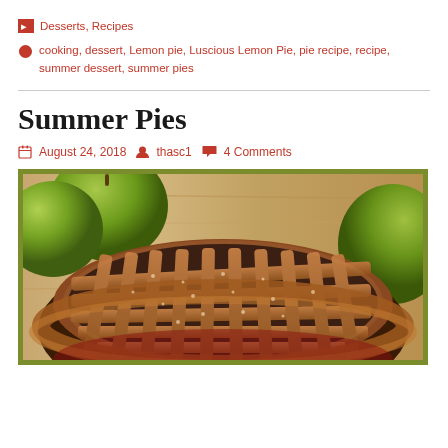Desserts, Recipes
cooking, dessert, Lemon pie, Luscious Lemon Pie, pie recipe, recipe, summer dessert, summer pies
Summer Pies
August 24, 2018  thasc1  4 Comments
[Figure (photo): Close-up photo of a lattice-top apple pie with green apples in the background, placed on a green-bordered surface]